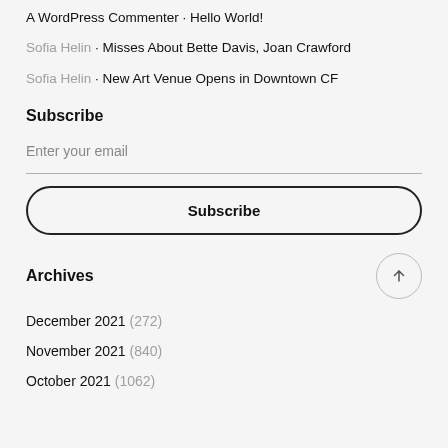A WordPress Commenter • Hello World!
Sofia Helin • Misses About Bette Davis, Joan Crawford
Sofia Helin • New Art Venue Opens in Downtown CF
Subscribe
Enter your email
Subscribe
Archives
December 2021  (272)
November 2021  (840)
October 2021  (1062)